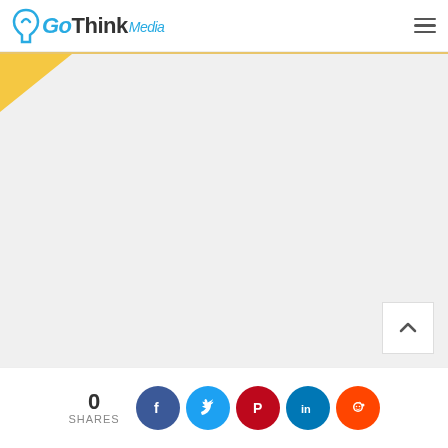GoThinkMedia
[Figure (screenshot): GoThinkMedia website screenshot showing a large light gray content area with a golden/yellow corner tag in the top left, a back-to-top arrow button in the bottom right, and a border on the top and right side]
0 SHARES
[Figure (infographic): Social share buttons row: Facebook (blue circle with f), Twitter (light blue circle with bird), Pinterest (red circle with P), LinkedIn (blue circle with in), Reddit (orange circle with alien mascot)]